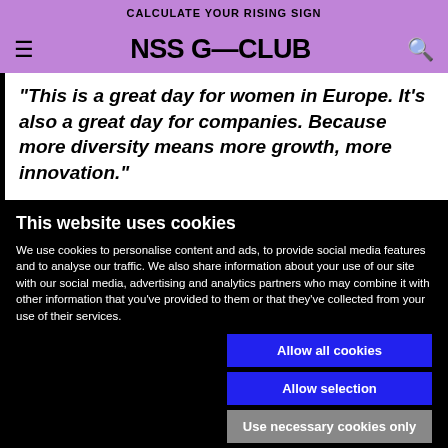CALCULATE YOUR RISING SIGN
NSS G—CLUB
"This is a great day for women in Europe. It's also a great day for companies. Because more diversity means more growth, more innovation."
This website uses cookies
We use cookies to personalise content and ads, to provide social media features and to analyse our traffic. We also share information about your use of our site with our social media, advertising and analytics partners who may combine it with other information that you've provided to them or that they've collected from your use of their services.
Allow all cookies
Allow selection
Use necessary cookies only
Necessary  Preferences  Statistics  Marketing  Show details